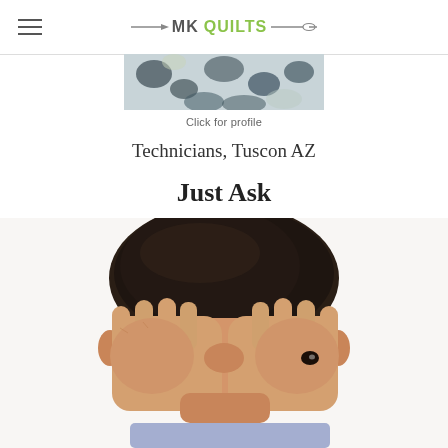MK QUILTS
[Figure (photo): Top portion of a decorative image showing floral/leaf patterned fabric or clothing]
Click for profile
Technicians, Tuscon AZ
Just Ask
[Figure (photo): A young child covering their face with both hands, peeking through fingers, dark hair, white background]